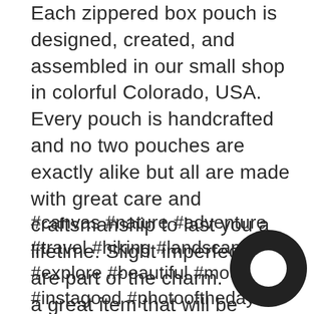Each zippered box pouch is designed, created, and assembled in our small shop in colorful Colorado, USA. Every pouch is handcrafted and no two pouches are exactly alike but all are made with great care and craftsmanship to last you a lifetime. Slight imperfections are part of the charm.  This is a great item that will be passed down for generations.
#canvas #nature #adventure #travel #hiking #landscape #explore #beautiful #mountains #instagood #photooftheday #naturelovers #wanderlust #bag #tarp #bushcraft #trees #camping  #fun #outside #hike #gear #forest #coloradobushcraft #hiking #backpack #be... #coozie #cozy #cooler #rockymountains #c...o